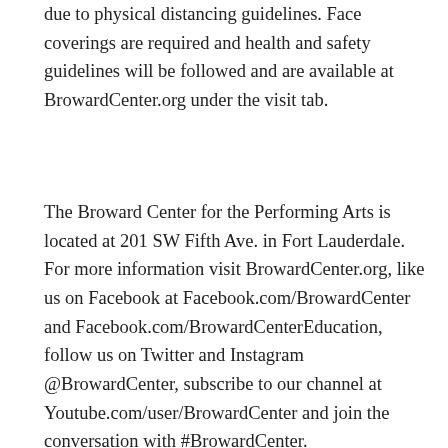due to physical distancing guidelines. Face coverings are required and health and safety guidelines will be followed and are available at BrowardCenter.org under the visit tab.
The Broward Center for the Performing Arts is located at 201 SW Fifth Ave. in Fort Lauderdale. For more information visit BrowardCenter.org, like us on Facebook at Facebook.com/BrowardCenter and Facebook.com/BrowardCenterEducation, follow us on Twitter and Instagram @BrowardCenter, subscribe to our channel at Youtube.com/user/BrowardCenter and join the conversation with #BrowardCenter.
The Broward Center 2020-2021 season is presented by the Broward Performing Arts Foundation. AutoNation, Bank of America, Cleveland Clinic Florida, Greater Fort Lauderdale Convention & Visitors Bureau, MasterCard and Sylvester